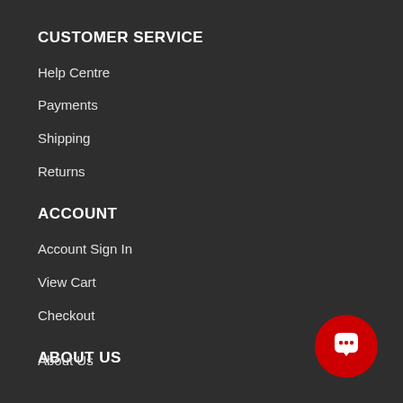CUSTOMER SERVICE
Help Centre
Payments
Shipping
Returns
ACCOUNT
Account Sign In
View Cart
Checkout
ABOUT US
About Us
Join The VIP Club
Our Blog
[Figure (illustration): Red circular chat button with white speech bubble icon in bottom-right corner]